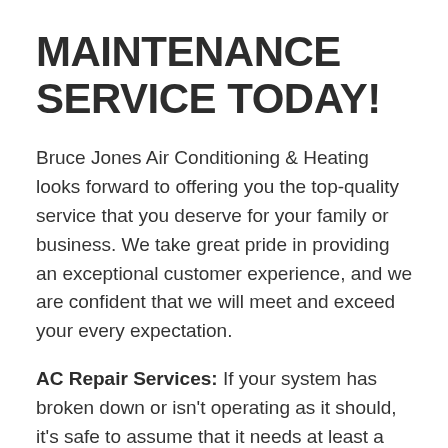MAINTENANCE SERVICE TODAY!
Bruce Jones Air Conditioning & Heating looks forward to offering you the top-quality service that you deserve for your family or business. We take great pride in providing an exceptional customer experience, and we are confident that we will meet and exceed your every expectation.
AC Repair Services: If your system has broken down or isn't operating as it should, it's safe to assume that it needs at least a minor AC repair to get back on course and operate efficiently. Our team can handle any system repairs you might